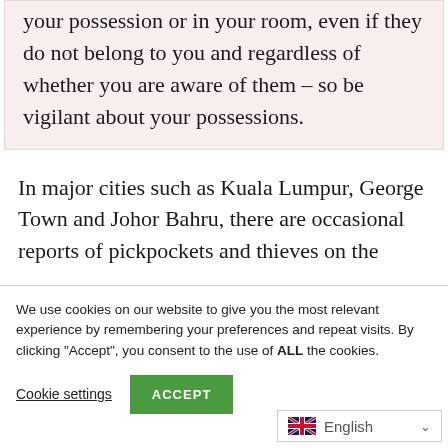long as drugs are found in bags that are in your possession or in your room, even if they do not belong to you and regardless of whether you are aware of them – so be vigilant about your possessions.
In major cities such as Kuala Lumpur, George Town and Johor Bahru, there are occasional reports of pickpockets and thieves on the
We use cookies on our website to give you the most relevant experience by remembering your preferences and repeat visits. By clicking "Accept", you consent to the use of ALL the cookies.
Cookie settings | ACCEPT
English